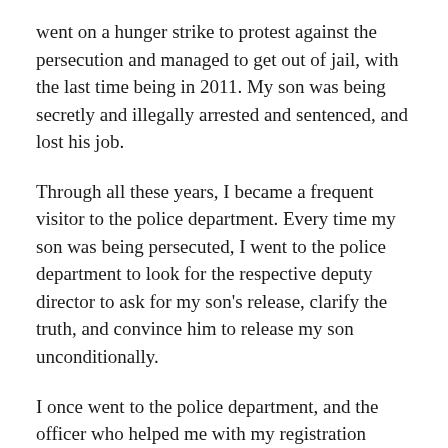went on a hunger strike to protest against the persecution and managed to get out of jail, with the last time being in 2011. My son was being secretly and illegally arrested and sentenced, and lost his job.
Through all these years, I became a frequent visitor to the police department. Every time my son was being persecuted, I went to the police department to look for the respective deputy director to ask for my son's release, clarify the truth, and convince him to release my son unconditionally.
I once went to the police department, and the officer who helped me with my registration asked me what I was there for. I said that I was looking for the deputy director. He said, “Did you make an appointment?” I